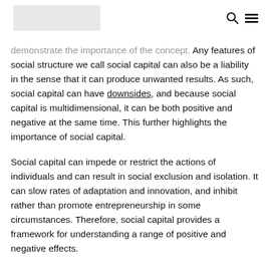[logo placeholder] [search icon] [menu icon]
demonstrate the importance of the concept. Any features of social structure we call social capital can also be a liability in the sense that it can produce unwanted results. As such, social capital can have downsides, and because social capital is multidimensional, it can be both positive and negative at the same time. This further highlights the importance of social capital.
Social capital can impede or restrict the actions of individuals and can result in social exclusion and isolation. It can slow rates of adaptation and innovation, and inhibit rather than promote entrepreneurship in some circumstances. Therefore, social capital provides a framework for understanding a range of positive and negative effects.